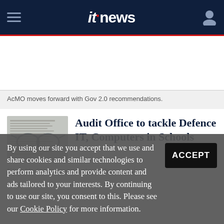itnews
AcMO moves forward with Gov 2.0 recommendations.
Audit Office to tackle Defence IT, Computers in Schools
Filter, blackspots program also in the crosshairs.
By using our site you accept that we use and share cookies and similar technologies to perform analytics and provide content and ads tailored to your interests. By continuing to use our site, you consent to this. Please see our Cookie Policy for more information.